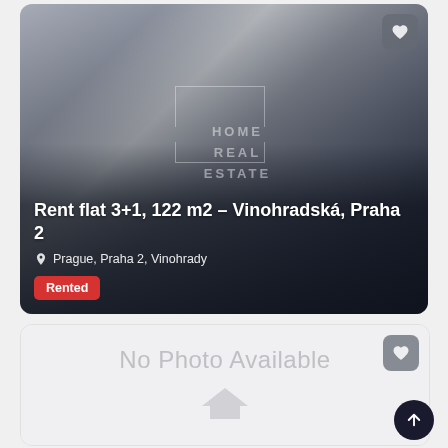[Figure (photo): Interior photo of an apartment living room with dark curtains, hardwood floor, red sofa, and ceiling light. Overlaid with dark gradient and watermark text 'HOME REAL ESTATE'. Shows property listing card for Rent flat 3+1, 122 m2 - Vinohradská, Praha 2.]
Rent flat 3+1, 122 m2 - Vinohradská, Praha 2
Prague, Praha 2, Vinohrady
Rented
[Figure (photo): Second property listing card showing 'No Photo Available' placeholder with a house outline icon.]